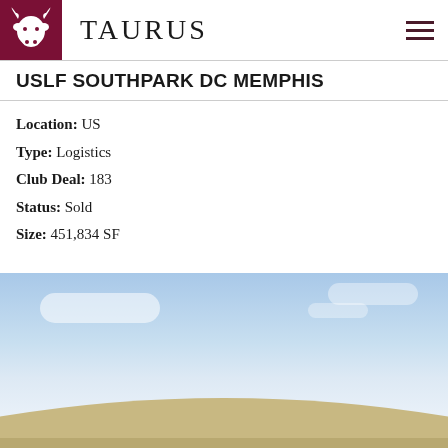[Figure (logo): Taurus company logo: white bull head silhouette on dark maroon/burgundy square background, with the text TAURUS in large serif letters beside it. A hamburger menu icon appears on the right.]
USLF SOUTHPARK DC MEMPHIS
Location: US
Type: Logistics
Club Deal: 183
Status: Sold
Size: 451,834 SF
[Figure (photo): Exterior photo of a large logistics/distribution center building with a curved roof, photographed from a low angle showing the building silhouette against a partly cloudy blue sky.]